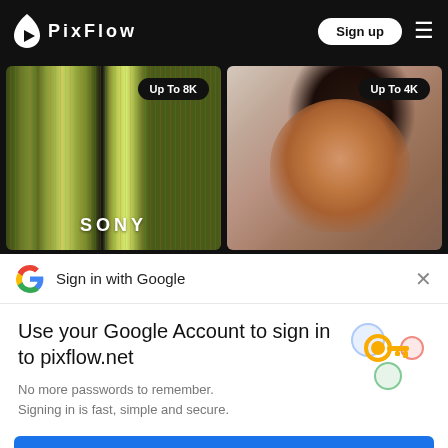PIXFLOW — Sign up
[Figure (screenshot): Two video thumbnails: left shows colorful vertical stripes with SONY label and 'Up To 8K' badge; right shows a woman's face close-up with 'Up To 4K' badge]
Sign in with Google
Use your Google Account to sign in to pixflow.net
No more passwords to remember. Signing in is fast, simple and secure.
Continue